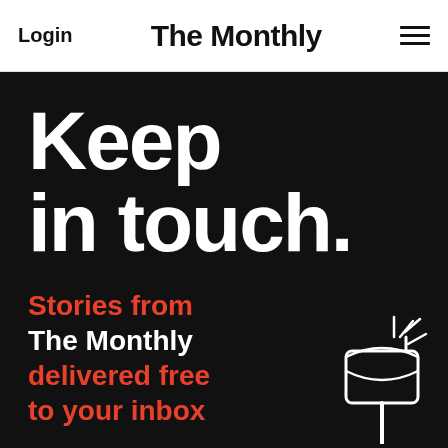Login | The Monthly | Menu
Keep in touch.
Stories from The Monthly delivered free to your inbox